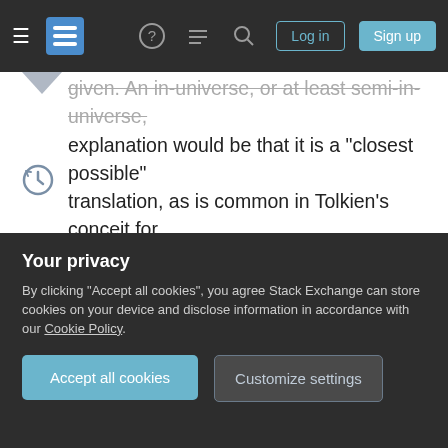Stack Exchange navigation bar with hamburger menu, logo, help, comments, search icons, and Log in / Sign up buttons
given. An in-universe, or at least semi-in-universe, explanation would be that it is a "closest possible" translation, as is common in Tolkien's conceit for LOTR.
Disclaimer: There seems to be disagreement in various articles about whether Galactic Base Standard IS English or is being rendered as English. However, even if you think the dialogue isn't being translated, the Aurebesh is a sign that GBS is not exactly English: alternate alphabets and differing language origins at least open the door to the
Your privacy
By clicking "Accept all cookies", you agree Stack Exchange can store cookies on your device and disclose information in accordance with our Cookie Policy.
Accept all cookies
Customize settings
in Tolkien's conceit (as in real-world translations),